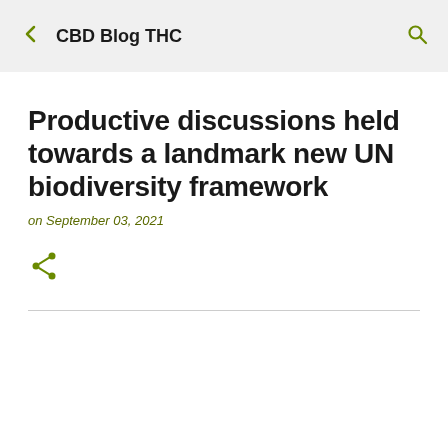CBD Blog THC
Productive discussions held towards a landmark new UN biodiversity framework
on September 03, 2021
[Figure (illustration): Share icon (green)]